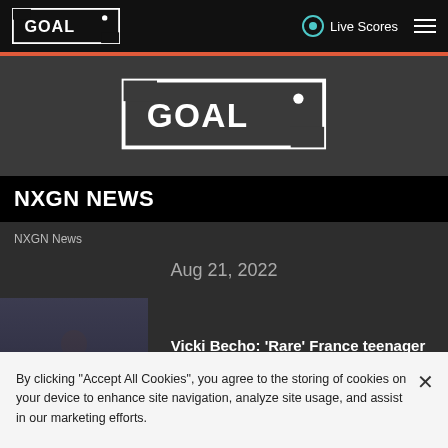GOAL — Live Scores
[Figure (logo): Goal.com logo centered on dark background]
NXGN NEWS
NXGN News
Aug 21, 2022
[Figure (photo): Vicki Becho player photo]
Vicki Becho: 'Rare' France teenager inspired by CR7
By clicking "Accept All Cookies", you agree to the storing of cookies on your device to enhance site navigation, analyze site usage, and assist in our marketing efforts.